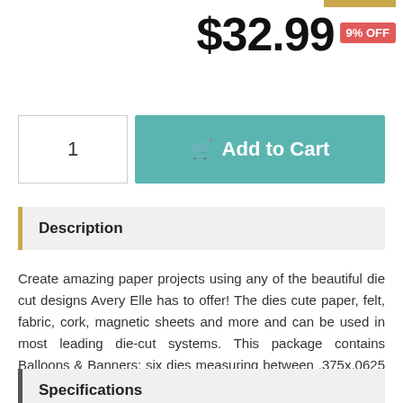$32.99
9% OFF
1
Add to Cart
Description
Create amazing paper projects using any of the beautiful die cut designs Avery Elle has to offer! The dies cute paper, felt, fabric, cork, magnetic sheets and more and can be used in most leading die-cut systems. This package contains Balloons & Banners: six dies measuring between .375x.0625 inches and 1x5.75 inches. . Coordinates with AE1741 Stamp Set
Specifications